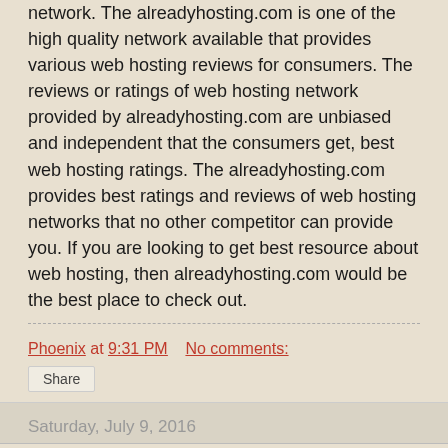network. The alreadyhosting.com is one of the high quality network available that provides various web hosting reviews for consumers. The reviews or ratings of web hosting network provided by alreadyhosting.com are unbiased and independent that the consumers get, best web hosting ratings. The alreadyhosting.com provides best ratings and reviews of web hosting networks that no other competitor can provide you. If you are looking to get best resource about web hosting, then alreadyhosting.com would be the best place to check out.
Phoenix at 9:31 PM    No comments:
Share
Saturday, July 9, 2016
Cheap Signs and Jewellery Information
The best way to market your business or product can be done by designing a suitable sign. There are various networks in Internet that helps consumers to design signs for